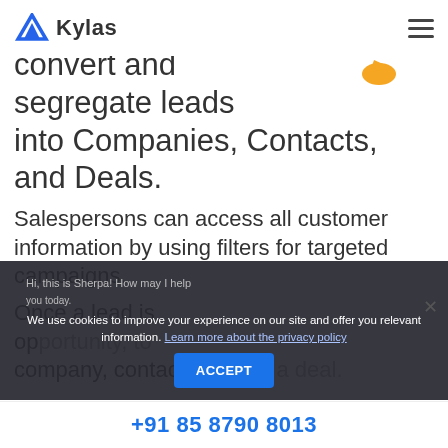Kylas
convert and segregate leads into Companies, Contacts, and Deals.
Salespersons can access all customer information by using filters for targeted campaigns.
Once a lead is opportunity, to company, contact, or even a deal.
We use cookies to improve your experience on our site and offer you relevant information. Learn more about the privacy policy
+91 85 8790 8013